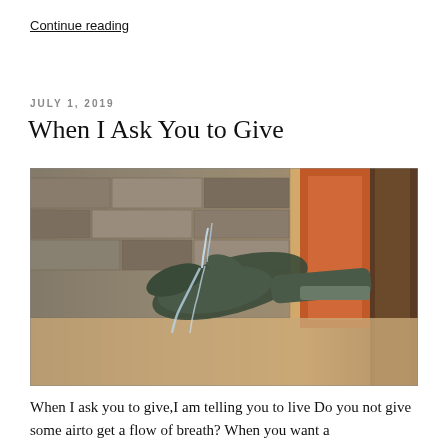Continue reading
JULY 1, 2019
When I Ask You to Give
[Figure (photo): A bronze sculpture of an open hand mounted on a wall, with water flowing from the fingers, set against a stone wall background with warm orange and brown tones.]
When I ask you to give,I am telling you to live Do you not give some airto get a flow of breath? When you want a